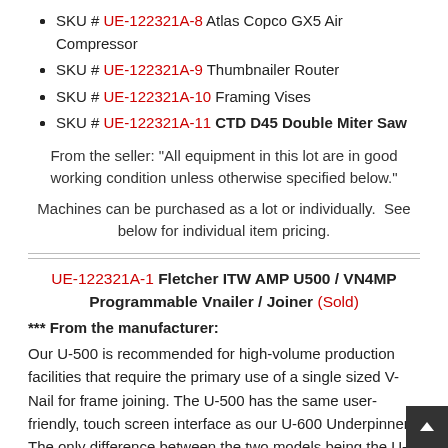SKU # UE-122321A-8 Atlas Copco GX5 Air Compressor
SKU # UE-122321A-9 Thumbnailer Router
SKU # UE-122321A-10 Framing Vises
SKU # UE-122321A-11 CTD D45 Double Miter Saw
From the seller: "All equipment in this lot are in good working condition unless otherwise specified below."
Machines can be purchased as a lot or individually.  See below for individual item pricing.
UE-122321A-1 Fletcher ITW AMP U500 / VN4MP Programmable Vnailer / Joiner (Sold)
*** From the manufacturer:
Our U-500 is recommended for high-volume production facilities that require the primary use of a single sized V-Nail for frame joining. The U-500 has the same user-friendly, touch screen interface as our U-600 Underpinner. The only difference between the two models being the U-